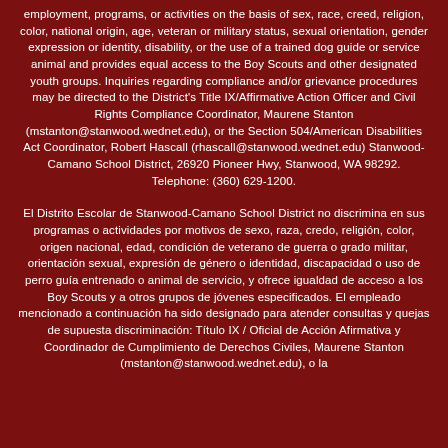employment, programs, or activities on the basis of sex, race, creed, religion, color, national origin, age, veteran or military status, sexual orientation, gender expression or identity, disability, or the use of a trained dog guide or service animal and provides equal access to the Boy Scouts and other designated youth groups. Inquiries regarding compliance and/or grievance procedures may be directed to the District's Title IX/Affirmative Action Officer and Civil Rights Compliance Coordinator, Maurene Stanton (mstanton@stanwood.wednet.edu), or the Section 504/American Disabilities Act Coordinator, Robert Hascall (rhascall@stanwood.wednet.edu) Stanwood-Camano School District, 26920 Pioneer Hwy, Stanwood, WA 98292. Telephone: (360) 629-1200.
El Distrito Escolar de Stanwood-Camano School District no discrimina en sus programas o actividades por motivos de sexo, raza, credo, religión, color, origen nacional, edad, condición de veterano de guerra o grado militar, orientación sexual, expresión de género o identidad, discapacidad o uso de perro guía entrenado o animal de servicio, y ofrece igualdad de acceso a los Boy Scouts y a otros grupos de jóvenes especificados. El empleado mencionado a continuación ha sido designado para atender consultas y quejas de supuesta discriminación: Título IX / Oficial de Acción Afirmativa y Coordinador de Cumplimiento de Derechos Civiles, Maurene Stanton (mstanton@stanwood.wednet.edu), o la